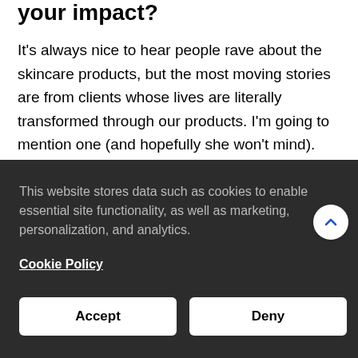your impact?
It's always nice to hear people rave about the skincare products, but the most moving stories are from clients whose lives are literally transformed through our products. I'm going to mention one (and hopefully she won't mind). One of my favorite actresses, Angelica [session] [where they] [n the] [hen asked if] [st said] [h tears in] [care of and]
This website stores data such as cookies to enable essential site functionality, as well as marketing, personalization, and analytics.
Cookie Policy
Accept
Deny